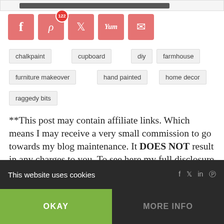[Figure (screenshot): Top portion of a blog page showing a dark progress bar on light background]
[Figure (infographic): Row of five red/salmon social media sharing buttons: Facebook, Pinterest (with badge 122), Twitter, Yummly, Email]
chalkpaint
cupboard
diy
farmhouse
furniture makeover
hand painted
home decor
raggedy bits
**This post may contain affiliate links. Which means I may receive a very small commission to go towards my blog maintenance. It DOES NOT result in any charges to you. To see here my full disclosure click anywhere on this statement**
This website uses cookies  OKAY  MORE INFO